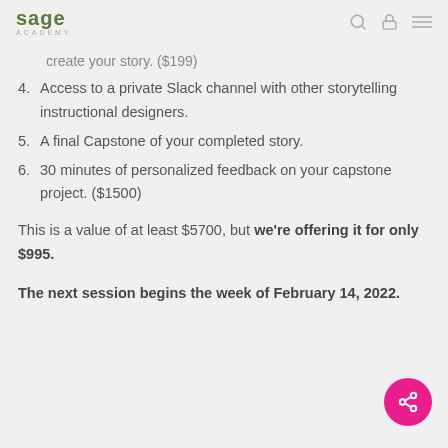sage ACADEMY
create your story. ($199)
4. Access to a private Slack channel with other storytelling instructional designers.
5. A final Capstone of your completed story.
6. 30 minutes of personalized feedback on your capstone project. ($1500)
This is a value of at least $5700, but we're offering it for only $995.
The next session begins the week of February 14, 2022.